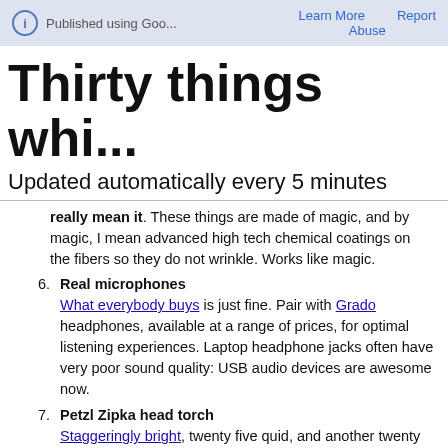Published using Goo... | Learn More | Report | Abuse
Thirty things whi...
Updated automatically every 5 minutes
really mean it. These things are made of magic, and by magic, I mean advanced high tech chemical coatings on the fibers so they do not wrinkle. Works like magic.
6. Real microphones
What everybody buys is just fine. Pair with Grado headphones, available at a range of prices, for optimal listening experiences. Laptop headphone jacks often have very poor sound quality: USB audio devices are awesome now.
7. Petzl Zipka head torch
Staggeringly bright, twenty five quid, and another twenty for a rechargeable lithium-ion battery which will keep it running for days. Pair with a USB solar panel - these are also quite good. For even more